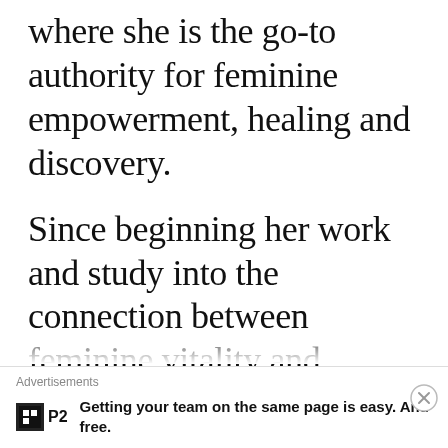where she is the go-to authority for feminine empowerment, healing and discovery.
Since beginning her work and study into the connection between feminine vitality and physiology, Sheila’s vision has been constant: A world in which women are deeply connected to their soulfully erotic selves and are able
Advertisements
P2 Getting your team on the same page is easy. And free.